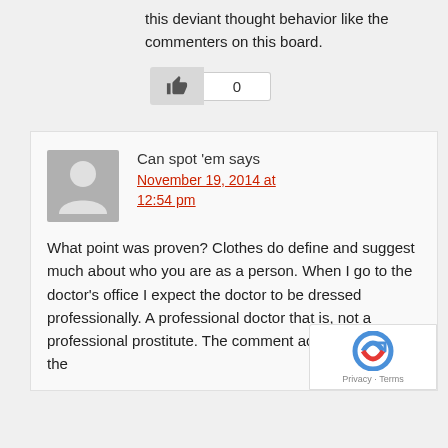this deviant thought behavior like the commenters on this board.
[Figure (other): Like/thumbs-up button with count box showing 0]
Can spot 'em says
November 19, 2014 at 12:54 pm
What point was proven? Clothes do define and suggest much about who you are as a person. When I go to the doctor's office I expect the doctor to be dressed professionally. A professional doctor that is, not a professional prostitute. The comment actually reveals the